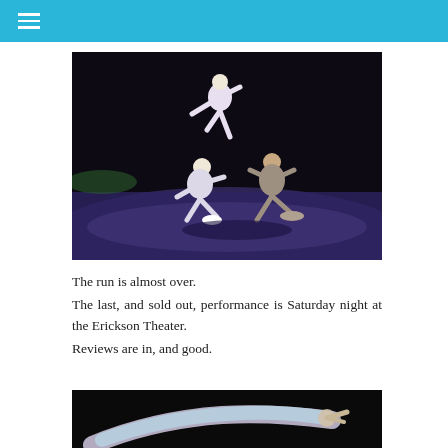[Figure (photo): Three dancers on a dark stage with blue-purple floor. One dancer is lifted high in the air with leg extended, another is crouching low, and a third is running/stepping forward. All wear light-colored clothing.]
The run is almost over.
The last, and sold out, performance is Saturday night at the Erickson Theater.
Reviews are in, and good.
[Figure (photo): A dancer extends an arm/leg outward against a dark background, partially visible at the bottom of the page.]